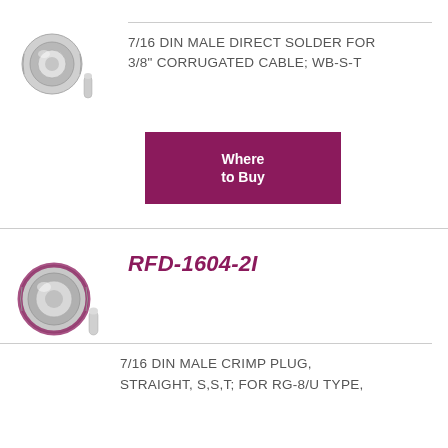[Figure (photo): Connector component - 7/16 DIN male direct solder connector shown with parts, top of page]
7/16 DIN MALE DIRECT SOLDER FOR 3/8" CORRUGATED CABLE; WB-S-T
[Figure (other): Where to Buy button (magenta/purple rectangle)]
[Figure (photo): Connector component - RFD-1604-2I 7/16 DIN male crimp plug shown with parts]
RFD-1604-2I
7/16 DIN MALE CRIMP PLUG, STRAIGHT, S,S,T; FOR RG-8/U TYPE,